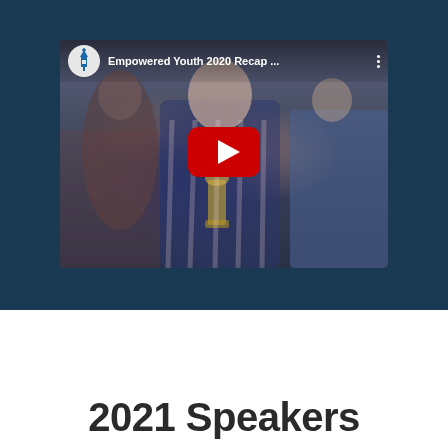[Figure (screenshot): YouTube video thumbnail showing 'Empowered Youth 2020 Recap...' with a young woman holding a trophy, with a YouTube play button overlay. The thumbnail has the video title and channel icon at the top. Set against a dark navy blue background.]
2021 Speakers